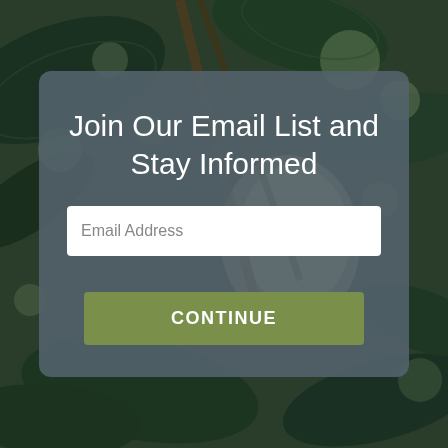[Figure (photo): Blurred bokeh photograph of dark green magnolia leaves and a pale cream/beige magnolia bud or fruit, with soft circular bokeh light spots in the background.]
Join Our Email List and Stay Informed
Email Address
CONTINUE